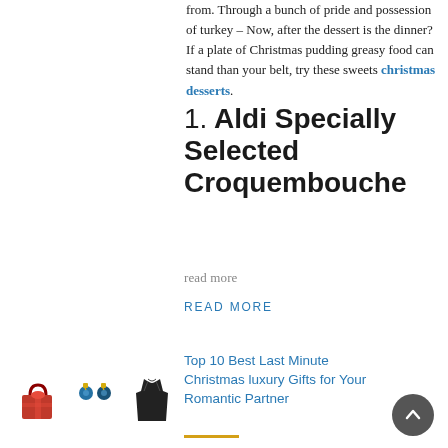from. Through a bunch of pride and possession of turkey – Now, after the dessert is the dinner? If a plate of Christmas pudding greasy food can stand than your belt, try these sweets christmas desserts.
1. Aldi Specially Selected Croquembouche
read more
READ MORE
[Figure (photo): Three small product images: a red gift bag, blue jeweled earrings, and a black dress coat]
Top 10 Best Last Minute Christmas luxury Gifts for Your Romantic Partner